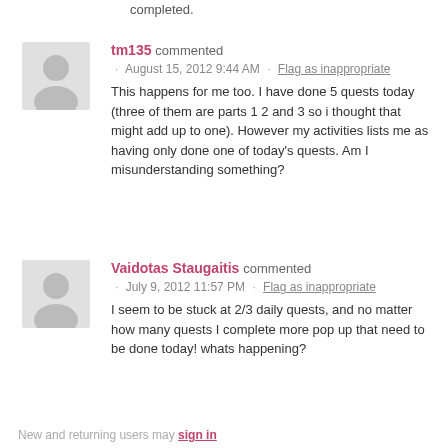completed.
tm135 commented · August 15, 2012 9:44 AM · Flag as inappropriate
This happens for me too. I have done 5 quests today (three of them are parts 1 2 and 3 so i thought that might add up to one). However my activities lists me as having only done one of today's quests. Am I misunderstanding something?
Vaidotas Staugaitis commented · July 9, 2012 11:57 PM · Flag as inappropriate
I seem to be stuck at 2/3 daily quests, and no matter how many quests I complete more pop up that need to be done today! whats happening?
New and returning users may sign in